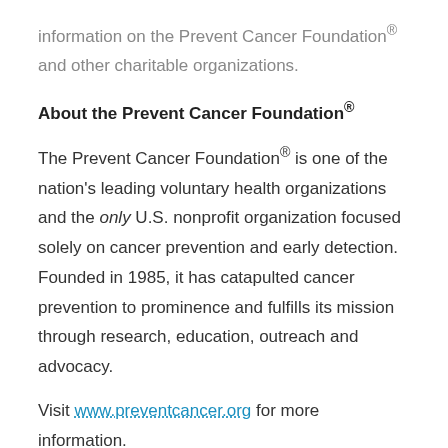information on the Prevent Cancer Foundation® and other charitable organizations.
About the Prevent Cancer Foundation®
The Prevent Cancer Foundation® is one of the nation's leading voluntary health organizations and the only U.S. nonprofit organization focused solely on cancer prevention and early detection. Founded in 1985, it has catapulted cancer prevention to prominence and fulfills its mission through research, education, outreach and advocacy.
Visit www.preventcancer.org for more information.
About Charity Navigator